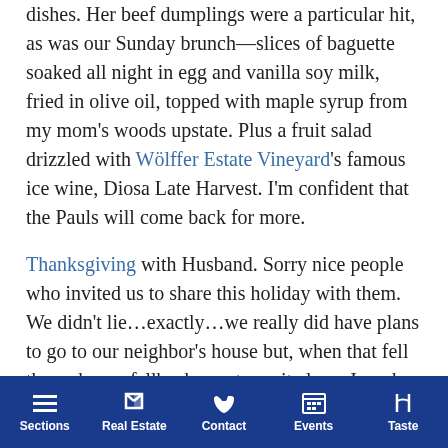dishes. Her beef dumplings were a particular hit, as was our Sunday brunch—slices of baguette soaked all night in egg and vanilla soy milk, fried in olive oil, topped with maple syrup from my mom's woods upstate. Plus a fruit salad drizzled with Wölffer Estate Vineyard's famous ice wine, Diosa Late Harvest. I'm confident that the Pauls will come back for more.
Thanksgiving with Husband. Sorry nice people who invited us to share this holiday with them. We didn't lie…exactly…we really did have plans to go to our neighbor's house but, when that fell through, our fallback was to go it alone. I made the whole dealio—turkey, dressing, cranberry sauce, potatoes, Brussels sprouts and pumpkin pie, just for us. Husband made the gravy. No time table, no political
Sections | Real Estate | Contact | Events | Taste